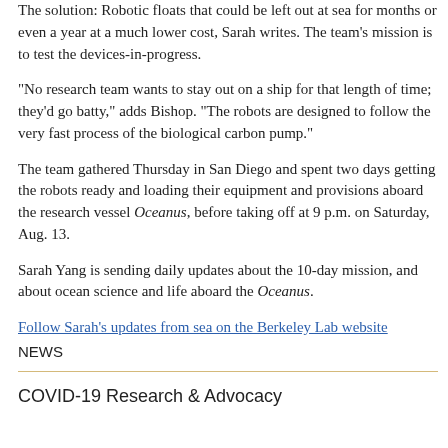The solution: Robotic floats that could be left out at sea for months or even a year at a much lower cost, Sarah writes. The team's mission is to test the devices-in-progress.
“No research team wants to stay out on a ship for that length of time; they'd go batty,” adds Bishop. “The robots are designed to follow the very fast process of the biological carbon pump.”
The team gathered Thursday in San Diego and spent two days getting the robots ready and loading their equipment and provisions aboard the research vessel Oceanus, before taking off at 9 p.m. on Saturday, Aug. 13.
Sarah Yang is sending daily updates about the 10-day mission, and about ocean science and life aboard the Oceanus.
Follow Sarah's updates from sea on the Berkeley Lab website
NEWS
COVID-19 Research & Advocacy